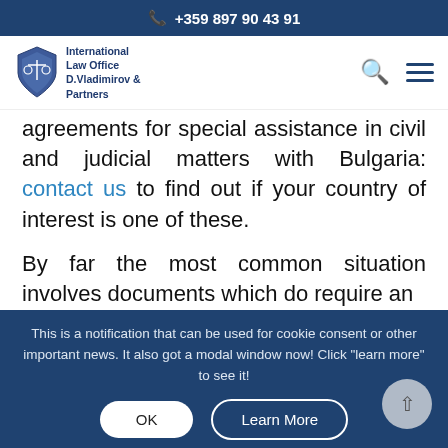+359 897 90 43 91
[Figure (logo): International Law Office D.Vladimirov & Partners shield logo with scales of justice]
agreements for special assistance in civil and judicial matters with Bulgaria: contact us to find out if your country of interest is one of these.
By far the most common situation involves documents which do require an
This is a notification that can be used for cookie consent or other important news. It also got a modal window now! Click "learn more" to see it!